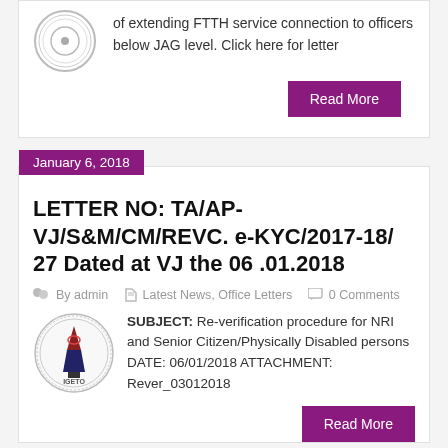[Figure (logo): Circular organization logo/seal at top of first card]
of extending FTTH service connection to officers below JAG level. Click here for letter
Read More
January 6, 2018
LETTER NO: TA/AP-VJ/S&M/CM/REVC. e-KYC/2017-18/ 27 Dated at VJ the 06 .01.2018
By admin   Latest News, Office Letters   0 Comments
[Figure (logo): IGETO circular organization logo]
SUBJECT: Re-verification procedure for NRI and Senior Citizen/Physically Disabled persons DATE: 06/01/2018 ATTACHMENT: Rever_03012018
Read More